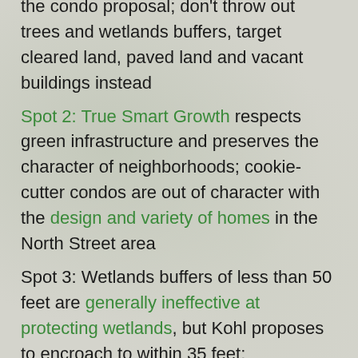the condo proposal; don't throw out trees and wetlands buffers, target cleared land, paved land and vacant buildings instead
Spot 2: True Smart Growth respects green infrastructure and preserves the character of neighborhoods; cookie-cutter condos are out of character with the design and variety of homes in the North Street area
Spot 3: Wetlands buffers of less than 50 feet are generally ineffective at protecting wetlands, but Kohl proposes to encroach to within 35 feet; Conservation Commissioner Downey Meyer says the wetland around Millyard Brook deserves respect even